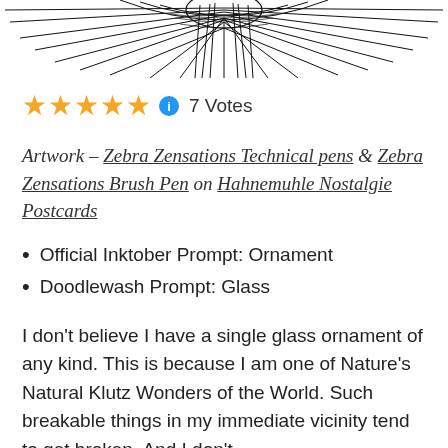[Figure (illustration): Partial black-and-white line art illustration of an ornate design (appears to be a decorative feather or nature motif), cropped at the top edge of the page.]
★★★★★ ℹ 7 Votes
Artwork – Zebra Zensations Technical pens & Zebra Zensations Brush Pen on Hahnemuhle Nostalgie Postcards
Official Inktober Prompt: Ornament
Doodlewash Prompt: Glass
I don't believe I have a single glass ornament of any kind. This is because I am one of Nature's Natural Klutz Wonders of the World. Such breakable things in my immediate vicinity tend to get broken. And I don't